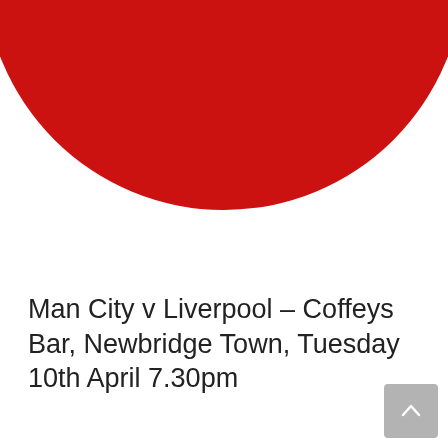[Figure (illustration): Large red circle on white background, partially cropped at top, showing lower portion of circle]
Man City v Liverpool – Coffeys Bar, Newbridge Town, Tuesday 10th April 7.30pm
9th April 2018   Warren Delaney
Dear Members, Hope to see you all down in Coffey's Bar Newbridge Town from 7.30pm Tuesday 10th April for the...